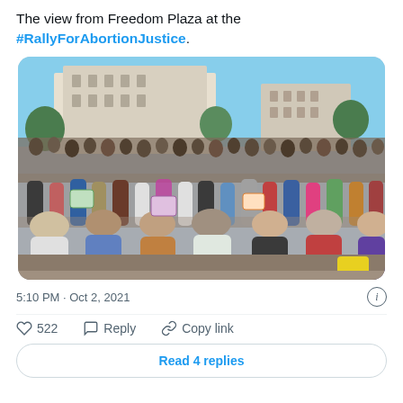The view from Freedom Plaza at the #RallyForAbortionJustice.
[Figure (photo): A large crowd of protesters gathered at Freedom Plaza for the Rally for Abortion Justice. Hundreds of people visible holding signs, with a neoclassical government building in the background and blue sky above.]
5:10 PM · Oct 2, 2021
522  Reply  Copy link
Read 4 replies